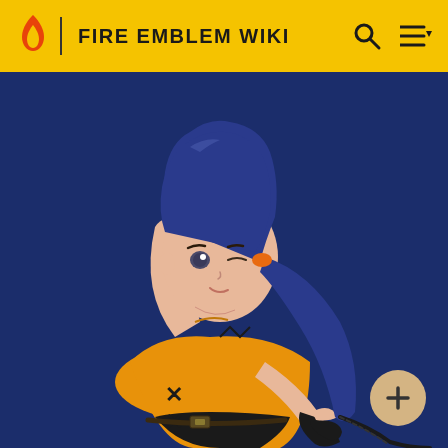FIRE EMBLEM WIKI
[Figure (illustration): Anime-style illustration of a young woman with dark blue hair tied in a ponytail with an orange ribbon, wearing a yellow short-sleeved top with black X markings, black fingerless gloves, and black shorts. She poses with one arm raised above her head, against a dark navy blue background. A black braided whip hangs at her side.]